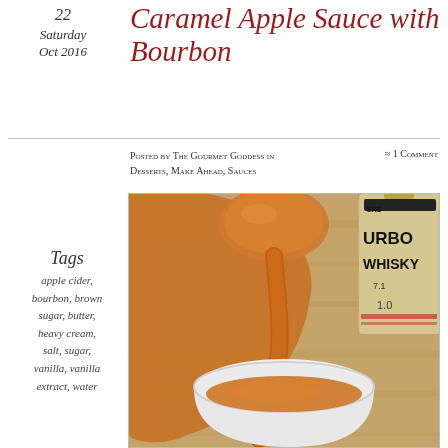22
Saturday
Oct 2016
Caramel Apple Sauce with Bourbon
Posted by The Gourmet Goddess in Desserts, Make Ahead, Sauces
≈ 1 Comment
Tags
apple cider,
bourbon, brown sugar, butter,
heavy cream,
salt, sugar,
vanilla, vanilla extract, water
[Figure (photo): Photo of caramel apple sauce being poured from a spoon into a white bowl, with a bourbon whisky bottle in the background on a wooden surface.]